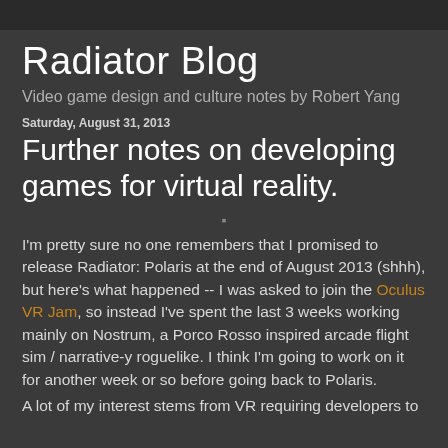Radiator Blog
Radiator Blog
Video game design and culture notes by Robert Yang
Saturday, August 31, 2013
Further notes on developing games for virtual reality.
I'm pretty sure no one remembers that I promised to release Radiator: Polaris at the end of August 2013 (shhh), but here's what happened -- I was asked to join the Oculus VR Jam, so instead I've spent the last 3 weeks working mainly on Nostrum, a Porco Rosso inspired arcade flight sim / narrative-y roguelike. I think I'm going to work on it for another week or so before going back to Polaris.
A lot of my interest stems from VR requiring developers to